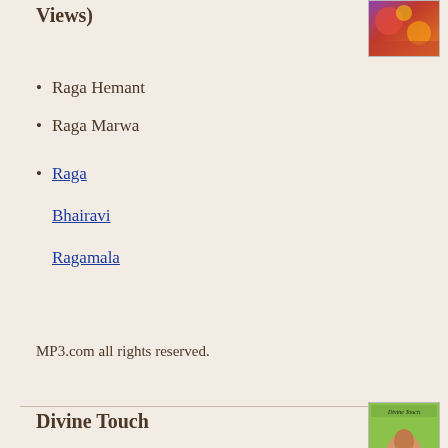Views)
[Figure (photo): Small thumbnail image with colorful abstract or decorative design in red, orange, and purple tones]
Raga Hemant
Raga Marwa
Raga

Bhairavi

Ragamala
MP3.com all rights reserved.
Divine Touch
[Figure (photo): Small book cover image with green background showing a person playing instrument, titled 'Divine Touch']
Raga Vibhas
Raga Khamaj
Agni Mile Purohitam(Vedic chant)